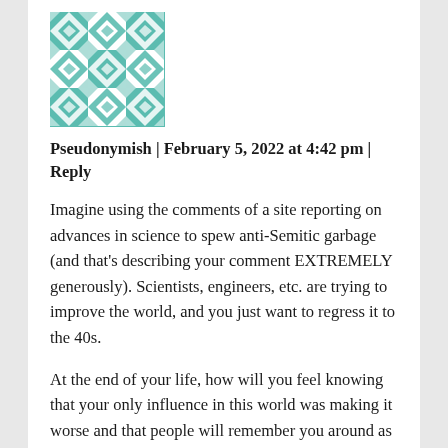[Figure (illustration): Teal and white geometric quilt-pattern avatar image with star/diamond repeating tile design]
Pseudonymish | February 5, 2022 at 4:42 pm | Reply
Imagine using the comments of a site reporting on advances in science to spew anti-Semitic garbage (and that’s describing your comment EXTREMELY generously). Scientists, engineers, etc. are trying to improve the world, and you just want to regress it to the 40s.
At the end of your life, how will you feel knowing that your only influence in this world was making it worse and that people will remember you around as much as used gum on a sidewalk (and